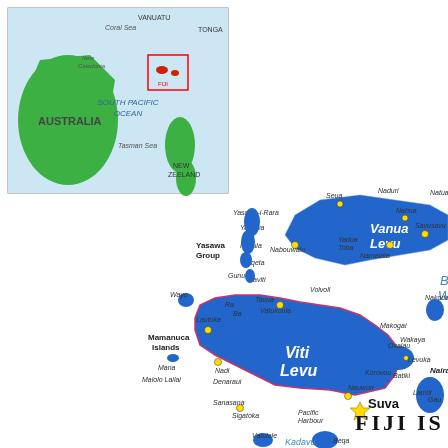[Figure (map): Map of Fiji Islands showing the main islands including Viti Levu and Vanua Levu, surrounding smaller islands, ocean features including Bligh Water and Kadavu Passage, with city/town markers. An inset map in the upper left shows the location of Fiji in the South Pacific Ocean relative to Australia, New Zealand, Vanuatu, and Tonga. Major labeled places include: Suva (capital, marked with a star), Nadi, Sigatoka, Lautoka, Naviti, Yasawa Group, Mamanuca Islands, Malolo Lailai, Mana, Denaraui, Sanasana, Pacific Harbour, Beqa, Vatulele, Kadavu Passage, Vitivoli, Tavua, Vatukoula, Ba, Ra, Korovou, Nauwori, Levuka, Ovalau, Makogai, Wakaya, Batiki, Gau, Namiti, Lamiti, Nabouwalu, Naimalata, Savusavu, Nahua, Natua, Seaqaqa, Naduri, Vanua Levu, Viti Levu, Bligh Water, Yasawa-i-Rara, Yasawa, Nacula, Yaqeta, Gunu, Wayo, Yadua Toba, Nakoda. Text at bottom right reads FIJI IS[LANDS].]